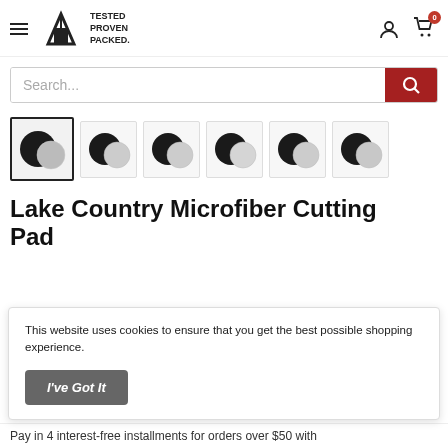TESTED PROVEN PACKED. [navigation header with hamburger menu, logo, user icon, cart with badge 0]
Search...
[Figure (photo): Six product thumbnail images of Lake Country Microfiber Cutting Pads showing black and white/grey circular pads side by side. First thumbnail is selected with black border.]
Lake Country Microfiber Cutting Pad
This website uses cookies to ensure that you get the best possible shopping experience.
I've Got It
Pay in 4 interest-free installments for orders over $50 with